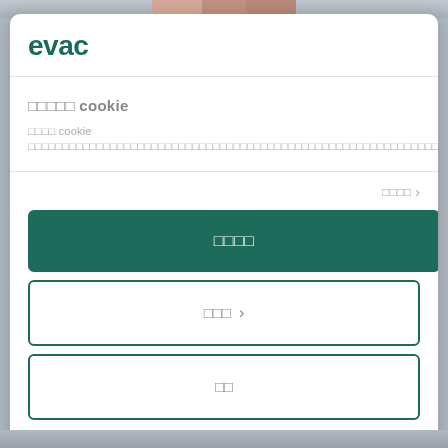[Figure (screenshot): Top image strip showing partial photo]
[Figure (logo): evac company logo in dark teal/green color]
□□□□□ cookie
□□□□ cookie □□□□□□□□□□□□□□□□□□□□□□□□□□□□□□□□□□□□□□□□□□□□□□□□□□□□□□□□□□□□□□□□□□□□
□□□□ ›
□□□□
□□□ ›
□□
Powered by Cookiebot by Usercentrics